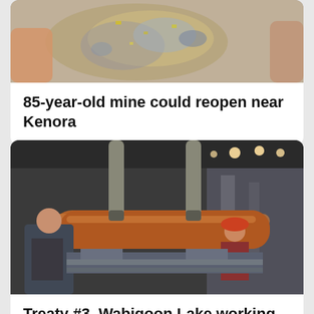[Figure (photo): Close-up photo of a mineral/ore rock specimen with gold and blue-grey colors being held by hands]
85-year-old mine could reopen near Kenora
[Figure (photo): Industrial factory scene with workers and a large copper cylindrical object being lifted by straps on machinery in a manufacturing facility]
Treaty #3, Wabigoon Lake working with